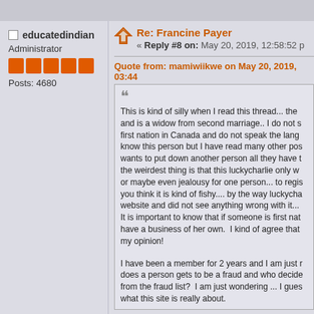educatedindian
Administrator
Posts: 4680
Re: Francine Payer
« Reply #8 on: May 20, 2019, 12:58:52 p
Quote from: mamiwiikwe on May 20, 2019, 03:44
This is kind of silly when I read this thread... the and is a widow from second marriage.. I do not s first nation in Canada and do not speak the lang know this person but I have read many other pos wants to put down another person all they have t the weirdest thing is that this luckycharlie only w or maybe even jealousy for one person... to regis you think it is kind of fishy.... by the way luckycha website and did not see anything wrong with it... It is important to know that if someone is first nat have a business of her own.  I kind of agree that my opinion!
I have been a member for 2 years and I am just r does a person gets to be a fraud and who decide from the fraud list?  I am just wondering ... I gues what this site is really about.
Anyone else think this is Payer again? Sa convenient knowledge of everything.